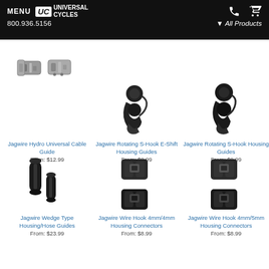MENU UC UNIVERSAL CYCLES 800.936.5156 | All Products
[Figure (photo): Jagwire Hydro Universal Cable Guide - silver metal cable guide parts]
Jagwire Hydro Universal Cable Guide
From: $12.99
[Figure (photo): Jagwire Rotating S-Hook E-Shift Housing Guides - black plastic rotating hook]
Jagwire Rotating S-Hook E-Shift Housing Guides
From: $8.99
[Figure (photo): Jagwire Rotating S-Hook Housing Guides - black plastic rotating hook]
Jagwire Rotating S-Hook Housing Guides
From: $9.99
[Figure (photo): Jagwire Wedge Type Housing/Hose Guides - black plastic cylindrical guides]
Jagwire Wedge Type Housing/Hose Guides
From: $23.99
[Figure (photo): Jagwire Wire Hook 4mm/4mm Housing Connectors - black plastic connectors with logo]
Jagwire Wire Hook 4mm/4mm Housing Connectors
From: $8.99
[Figure (photo): Jagwire Wire Hook 4mm/5mm Housing Connectors - black plastic connectors with logo]
Jagwire Wire Hook 4mm/5mm Housing Connectors
From: $8.99